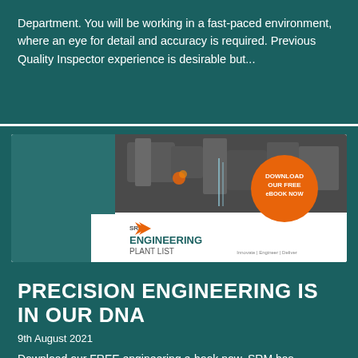Department. You will be working in a fast-paced environment, where an eye for detail and accuracy is required. Previous Quality Inspector experience is desirable but...
[Figure (illustration): SRM Engineering Plant List e-book cover with CNC machining photo and orange 'Download Our Free eBook Now' badge]
PRECISION ENGINEERING IS IN OUR DNA
9th August 2021
Download our FREE engineering e-book now. SRM has